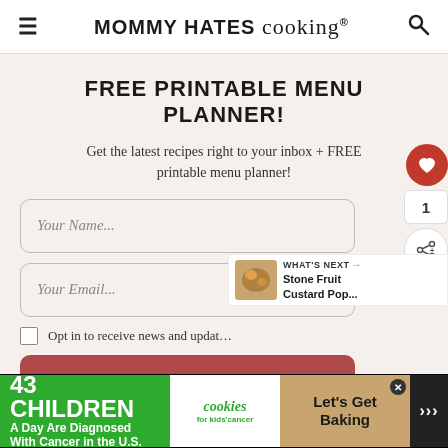MOMMY HATES cooking®
FREE PRINTABLE MENU PLANNER!
Get the latest recipes right to your inbox + FREE printable menu planner!
Your Name...
Your Email...
Opt in to receive news and updates
subscribe
WHAT'S NEXT → Stone Fruit Custard Pop...
1
[Figure (screenshot): Ad banner: 43 CHILDREN A Day Are Diagnosed With Cancer in the U.S. | cookies for kids' cancer | Let's Get Baking]
43 CHILDREN A Day Are Diagnosed With Cancer in the U.S. | cookies for kids' cancer | Let's Get Baking